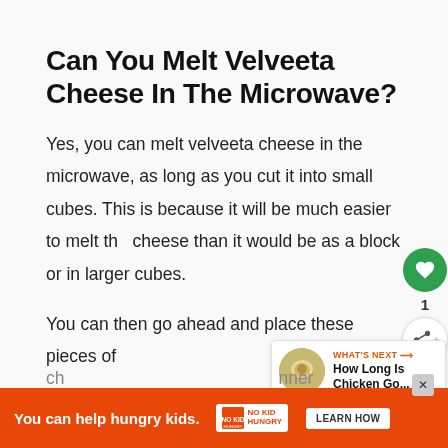Can You Melt Velveeta Cheese In The Microwave?
Yes, you can melt velveeta cheese in the microwave, as long as you cut it into small cubes. This is because it will be much easier to melt the cheese than it would be as a block or in larger cubes.
You can then go ahead and place these pieces of ch... inner f...
[Figure (other): Social widget with heart/like button (green circle with white heart icon), count label '1', and share button]
[Figure (other): What's Next widget showing 'WHAT'S NEXT →' label and 'How Long Is Chicken Go...' with thumbnail image]
[Figure (other): Orange advertisement banner: 'You can help hungry kids.' with No Kid Hungry logo and LEARN HOW button, with X close button]